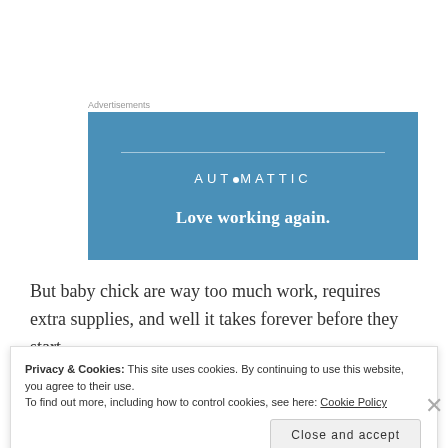Advertisements
[Figure (other): Automattic advertisement banner with blue background, horizontal rule, AUTOMATTIC logo, and tagline 'Love working again.']
But baby chick are way too much work, requires extra supplies, and well it takes forever before they start
Privacy & Cookies: This site uses cookies. By continuing to use this website, you agree to their use.
To find out more, including how to control cookies, see here: Cookie Policy
Close and accept